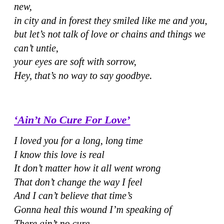new,
in city and in forest they smiled like me and you,
but let's not talk of love or chains and things we can't untie,
your eyes are soft with sorrow,
Hey, that's no way to say goodbye.
'Ain't No Cure For Love'
I loved you for a long, long time
I know this love is real
It don't matter how it all went wrong
That don't change the way I feel
And I can't believe that time's
Gonna heal this wound I'm speaking of
There ain't no cure,
There ain't no cure,